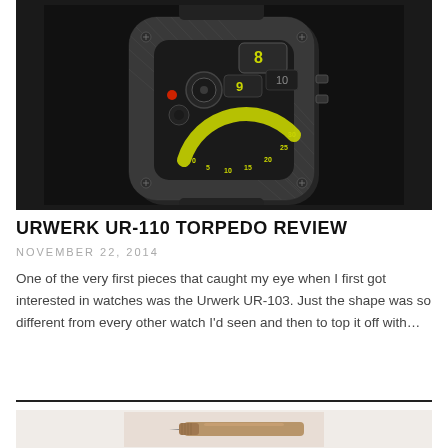[Figure (photo): Close-up photo of the Urwerk UR-110 Torpedo watch on a black background, showing the distinctive satellite hours display with yellow/green numerals and complex mechanical movement visible through the case.]
URWERK UR-110 TORPEDO REVIEW
NOVEMBER 22, 2014
One of the very first pieces that caught my eye when I first got interested in watches was the Urwerk UR-103. Just the shape was so different from every other watch I'd seen and then to top it off with…
[Figure (photo): Partial photo of a metallic pen, visible from the tip, on a light beige/tan background.]